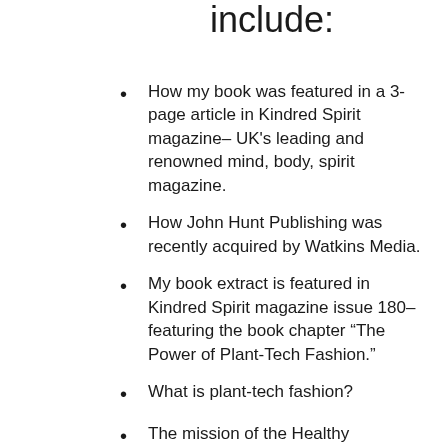include:
How my book was featured in a 3-page article in Kindred Spirit magazine– UK's leading and renowned mind, body, spirit magazine.
How John Hunt Publishing was recently acquired by Watkins Media.
My book extract is featured in Kindred Spirit magazine issue 180– featuring the book chapter “The Power of Plant-Tech Fashion.”
What is plant-tech fashion?
The mission of the Healthy